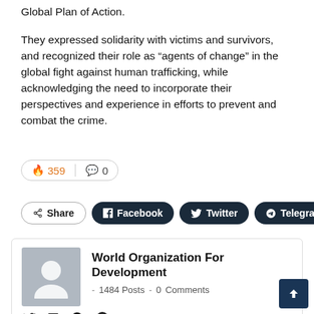Global Plan of Action.
They expressed solidarity with victims and survivors, and recognized their role as “agents of change” in the global fight against human trafficking, while acknowledging the need to incorporate their perspectives and experience in efforts to prevent and combat the crime.
🔥 359 | 💬 0
Share | Facebook | Twitter | Telegram | +
World Organization For Development - 1484 Posts - 0 Comments
The World Organization for Development has